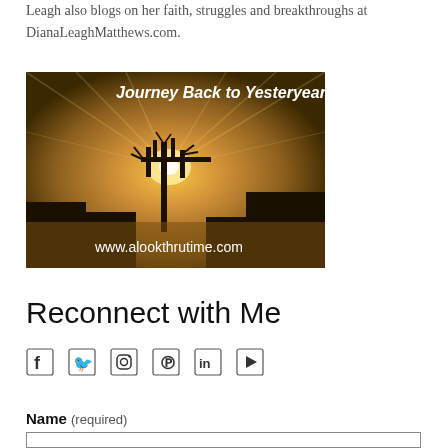Leagh also blogs on her faith, struggles and breakthroughs at DianaLeaghMatthews.com.
[Figure (photo): Photograph of bare trees silhouetted against a golden glowing sky with sun rays, overlaid with white text: 'Journey Back to Yesteryear' and 'www.alookthrutime.com']
Reconnect with Me
[Figure (infographic): Row of social media icons: Facebook, Twitter, Instagram, Pinterest, LinkedIn, YouTube]
Name (required)
[text input field]